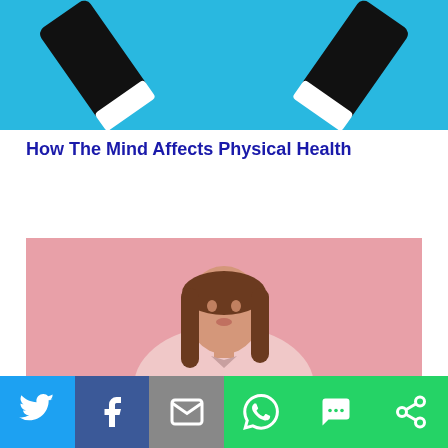[Figure (illustration): Illustration on cyan/blue background showing two hands in business suits shaking hands or reaching toward each other, representing the mind-body connection.]
How The Mind Affects Physical Health
[Figure (photo): Photo of a young woman with long brown hair wearing a light pink blouse, looking sideways with a slightly worried expression, against a pink background.]
It's Not Your Hormones At Fault!
[Figure (photo): Photo showing green leafy vegetables (lettuce and kale/cabbage) on a wooden surface.]
Twitter | Facebook | Email | WhatsApp | SMS | More